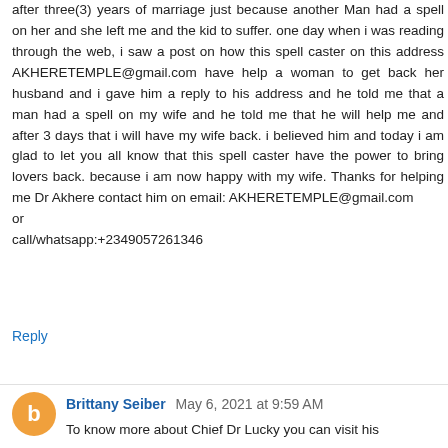after three(3) years of marriage just because another Man had a spell on her and she left me and the kid to suffer. one day when i was reading through the web, i saw a post on how this spell caster on this address AKHERETEMPLE@gmail.com have help a woman to get back her husband and i gave him a reply to his address and he told me that a man had a spell on my wife and he told me that he will help me and after 3 days that i will have my wife back. i believed him and today i am glad to let you all know that this spell caster have the power to bring lovers back. because i am now happy with my wife. Thanks for helping me Dr Akhere contact him on email: AKHERETEMPLE@gmail.com
or
call/whatsapp:+2349057261346
Reply
Brittany Seiber  May 6, 2021 at 9:59 AM
To know more about Chief Dr Lucky you can visit his